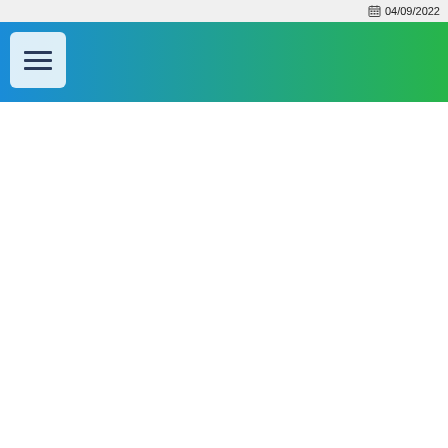04/09/2022
[Figure (screenshot): Navigation bar with a horizontal gradient from blue on the left to green on the right, containing a white hamburger menu button in the upper left corner with three horizontal lines.]